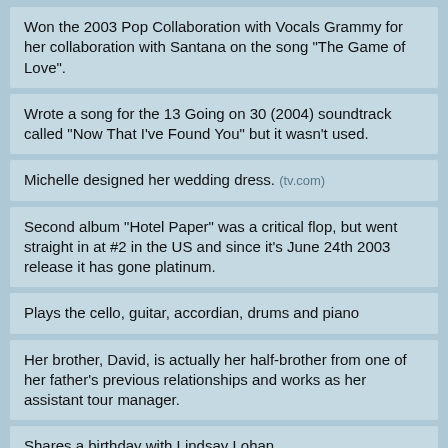Won the 2003 Pop Collaboration with Vocals Grammy for her collaboration with Santana on the song "The Game of Love".
Wrote a song for the 13 Going on 30 (2004) soundtrack called "Now That I've Found You" but it wasn't used.
Michelle designed her wedding dress. (tv.com)
Second album "Hotel Paper" was a critical flop, but went straight in at #2 in the US and since it's June 24th 2003 release it has gone platinum.
Plays the cello, guitar, accordian, drums and piano
Her brother, David, is actually her half-brother from one of her father's previous relationships and works as her assistant tour manager.
Shares a birthday with Lindsay Lohan.